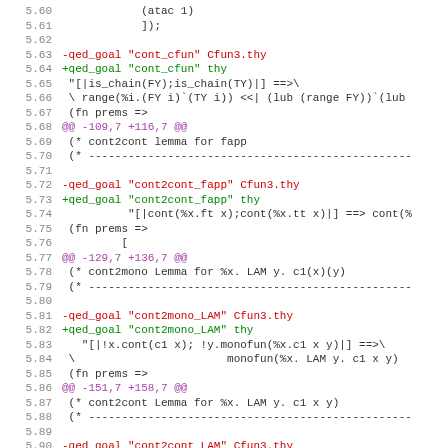Code diff showing changes to Cfun3.thy proof file, lines 5.60-5.91
Lines 5.60-5.91 showing -qed_goal/+qed_goal substitutions for cont_cfun, cont2cont_fapp, cont2mono_LAM, cont2cont_LAM